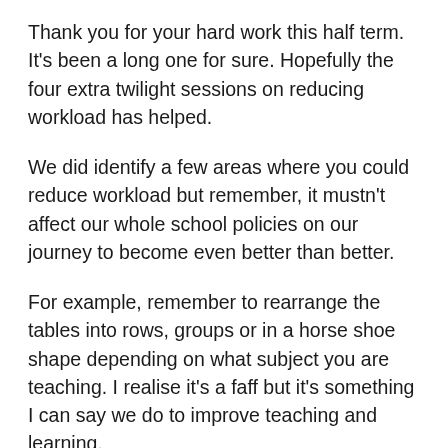Thank you for your hard work this half term. It's been a long one for sure. Hopefully the four extra twilight sessions on reducing workload has helped.
We did identify a few areas where you could reduce workload but remember, it mustn't affect our whole school policies on our journey to become even better than better.
For example, remember to rearrange the tables into rows, groups or in a horse shoe shape depending on what subject you are teaching. I realise it's a faff but it's something I can say we do to improve teaching and learning.
Remember, you must follow the strict timings set